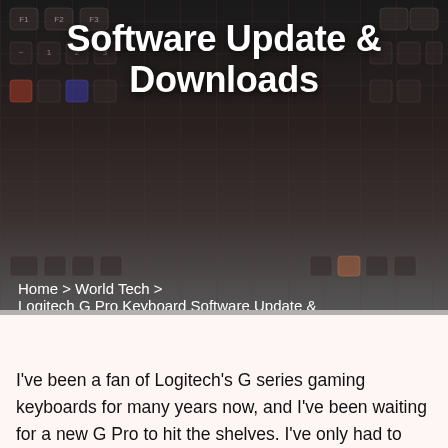[Figure (photo): Dark keyboard background image with gaming keyboard keys visible, used as hero banner background]
Software Update & Downloads
Home > World Tech > Logitech G Pro Keyboard Software Update & Downloads
I've been a fan of Logitech's G series gaming keyboards for many years now, and I've been waiting for a new G Pro to hit the shelves. I've only had to wait for about a year, and now I'm pleased to announce the new G Pro! This new version of the G Pro is a little different from previous G Pro keyboards, some designs with several key